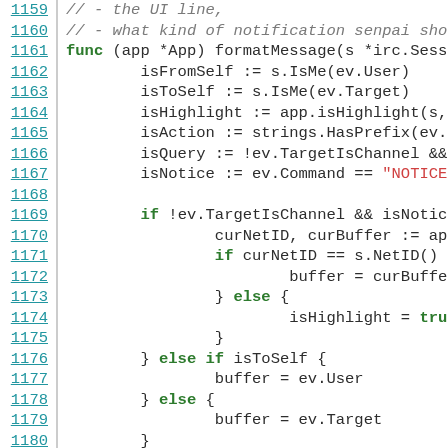[Figure (screenshot): Source code screenshot showing Go programming language code lines 1159-1180, with line numbers in teal on the left, comments in gray italic, keywords in bold green, and string literals in red.]